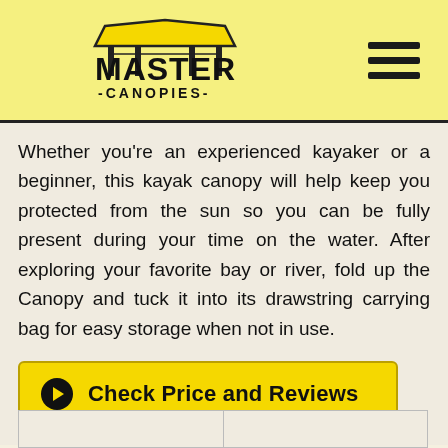MASTER CANOPIES
Whether you’re an experienced kayaker or a beginner, this kayak canopy will help keep you protected from the sun so you can be fully present during your time on the water. After exploring your favorite bay or river, fold up the Canopy and tuck it into its drawstring carrying bag for easy storage when not in use.
Check Price and Reviews